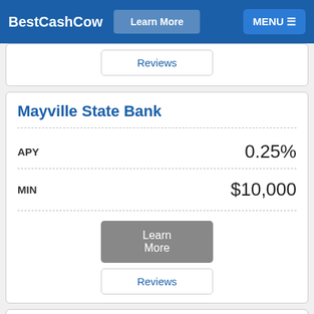BestCashCow | Learn More | MENU
Reviews
Mayville State Bank
| Field | Value |
| --- | --- |
| APY | 0.25% |
| MIN | $10,000 |
Learn More
Reviews
Fifth Third Bank, National Association
APY
0.20%